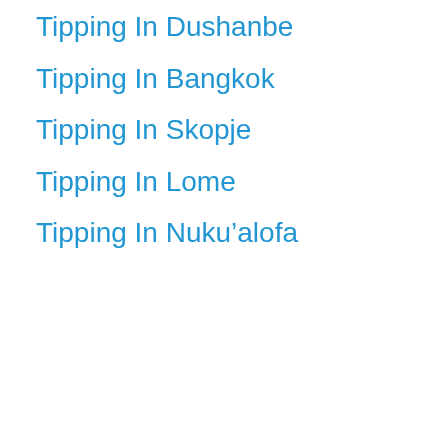Tipping In Dushanbe
Tipping In Bangkok
Tipping In Skopje
Tipping In Lome
Tipping In Nuku’alofa